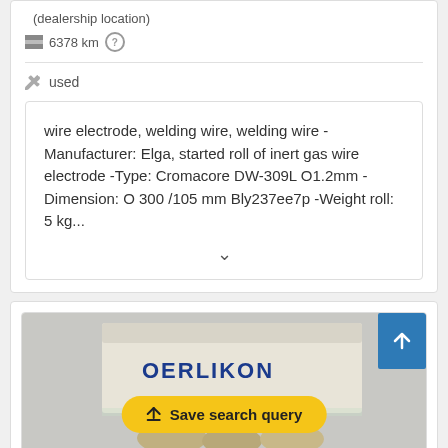(dealership location)
6378 km
used
wire electrode, welding wire, welding wire - Manufacturer: Elga, started roll of inert gas wire electrode -Type: Cromacore DW-309L O1.2mm -Dimension: O 300 /105 mm Bly237ee7p -Weight roll: 5 kg...
[Figure (photo): Product listing photo showing a box labeled OERLIKON with welding wire rolls]
Save search query